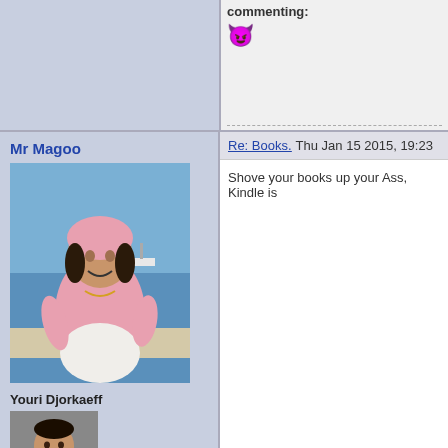commenting:
[Figure (other): Angry/devil emoji face]
Re: Books. Thu Jan 15 2015, 19:23
Mr Magoo
[Figure (photo): Profile photo of a woman in a pink top and head covering, standing outdoors near the sea]
Youri Djorkaeff
[Figure (photo): Small avatar photo of a man smiling]
Posts : 5794
Join date : 2012-01-06
Age : 56
Location : North Devon
Shove your books up your Ass, Kindle is